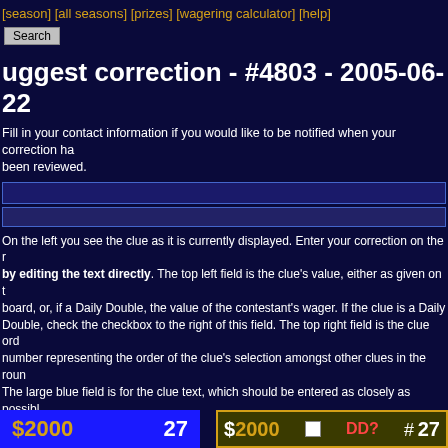[season] [all seasons] [prizes] [wagering calculator] [help]
Search
uggest correction - #4803 - 2005-06-22
Fill in your contact information if you would like to be notified when your correction has been reviewed.
On the left you see the clue as it is currently displayed. Enter your correction on the right by editing the text directly. The top left field is the clue's value, either as given on the board, or, if a Daily Double, the value of the contestant's wager. If the clue is a Daily Double, check the checkbox to the right of this field. The top right field is the clue order number representing the order of the clue's selection amongst other clues in the round. The large blue field is for the clue text, which should be entered as closely as possible how it appears on the show, with the exception that the words should not be all caps. Links to media clue files should be entered with HTML-style hyperlinks. Next come the nicknames of the three contestants in the form of response toggles: single clicks on the name change its color from white (no response) to green (correct response) to red (incorrect response) and back. Below this should be typed the correct response (only most essential part--it should not be entered in the form of a question). The bottom field on the right is the clue comments field, where dialog (including incorrect responses) can be entered. (Note that the correct response should never be typed in the comments field; rather, it should be denoted by [*].)